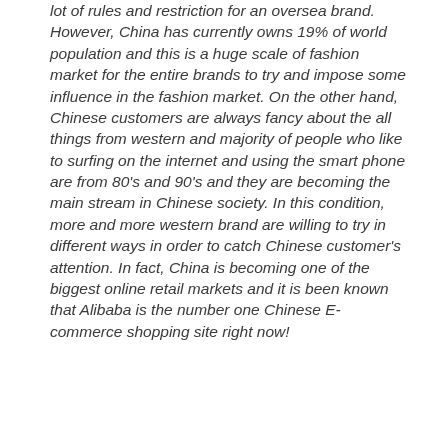lot of rules and restriction for an oversea brand. However, China has currently owns 19% of world population and this is a huge scale of fashion market for the entire brands to try and impose some influence in the fashion market. On the other hand, Chinese customers are always fancy about the all things from western and majority of people who like to surfing on the internet and using the smart phone are from 80's and 90's and they are becoming the main stream in Chinese society. In this condition, more and more western brand are willing to try in different ways in order to catch Chinese customer's attention. In fact, China is becoming one of the biggest online retail markets and it is been known that Alibaba is the number one Chinese E-commerce shopping site right now!